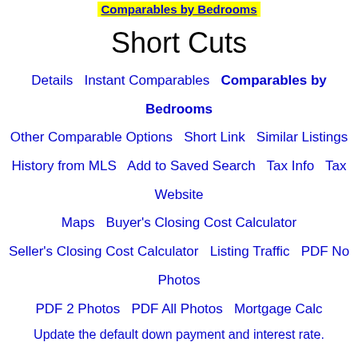Comparables by Bedrooms
Short Cuts
Details   Instant Comparables   Comparables by Bedrooms   Other Comparable Options   Short Link   Similar Listings   History from MLS   Add to Saved Search   Tax Info   Tax Website   Maps   Buyer's Closing Cost Calculator   Seller's Closing Cost Calculator   Listing Traffic   PDF No Photos   PDF 2 Photos   PDF All Photos   Mortgage Calc
Update the default down payment and interest rate.
OahuRE.com Notes About This Property